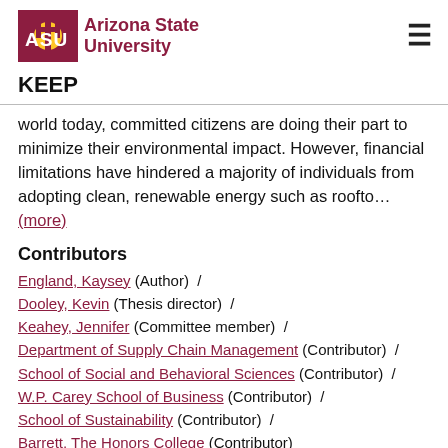Arizona State University — KEEP
world today, committed citizens are doing their part to minimize their environmental impact. However, financial limitations have hindered a majority of individuals from adopting clean, renewable energy such as roofto…
(more)
Contributors
England, Kaysey (Author) /
Dooley, Kevin (Thesis director) /
Keahey, Jennifer (Committee member) /
Department of Supply Chain Management (Contributor) /
School of Social and Behavioral Sciences (Contributor) /
W.P. Carey School of Business (Contributor) /
School of Sustainability (Contributor) /
Barrett, The Honors College (Contributor)